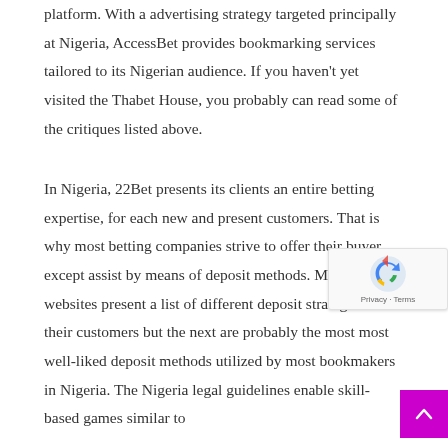platform. With a advertising strategy targeted principally at Nigeria, AccessBet provides bookmarking services tailored to its Nigerian audience. If you haven't yet visited the Thabet House, you probably can read some of the critiques listed above.
In Nigeria, 22Bet presents its clients an entire betting expertise, for each new and present customers. That is why most betting companies strive to offer their buyer except assist by means of deposit methods. Most betting websites present a list of different deposit strategies for their customers but the next are probably the most most well-liked deposit methods utilized by most bookmakers in Nigeria. The Nigeria legal guidelines enable skill-based games similar to